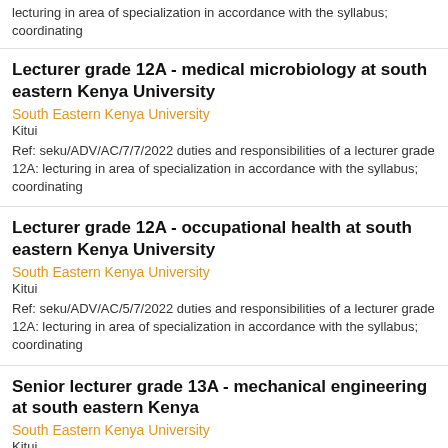Ref: seku/ADV/AC/7/7/2022 duties and responsibilities of a lecturer grade 12A: lecturing in area of specialization in accordance with the syllabus; coordinating
Lecturer grade 12A - medical microbiology at south eastern Kenya University
South Eastern Kenya University
Kitui
Ref: seku/ADV/AC/7/7/2022 duties and responsibilities of a lecturer grade 12A: lecturing in area of specialization in accordance with the syllabus; coordinating
Lecturer grade 12A - occupational health at south eastern Kenya University
South Eastern Kenya University
Kitui
Ref: seku/ADV/AC/5/7/2022 duties and responsibilities of a lecturer grade 12A: lecturing in area of specialization in accordance with the syllabus; coordinating
Senior lecturer grade 13A - mechanical engineering at south eastern Kenya
South Eastern Kenya University
Kitui
Ref: seku/ADV/AC/2/7/2022 requirements for appointment: for appointment to this position the candidate must: have an earned PhD in mechanical